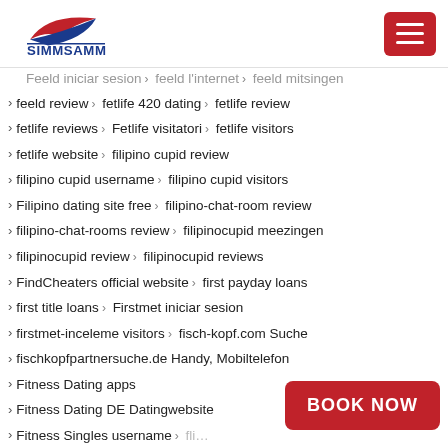SIMMSAMM
Feeld iniciar sesion › feeld l internet › feeld mitsingen
feeld review › fetlife 420 dating › fetlife review
fetlife reviews › Fetlife visitatori › fetlife visitors
fetlife website › filipino cupid review
filipino cupid username › filipino cupid visitors
Filipino dating site free › filipino-chat-room review
filipino-chat-rooms review › filipinocupid meezingen
filipinocupid review › filipinocupid reviews
FindCheaters official website › first payday loans
first title loans › Firstmet iniciar sesion
firstmet-inceleme visitors › fisch-kopf.com Suche
fischkopfpartnersuche.de Handy, Mobiltelefon
Fitness Dating apps
Fitness Dating DE Datingwebsite
Fitness Singles username ›
fling review › Flingster revi…
flingster incelomosi visitors